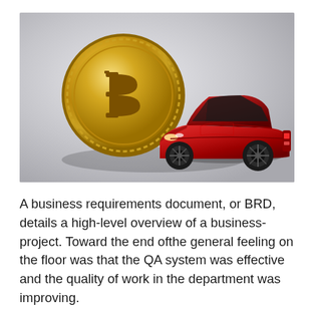[Figure (photo): A gold Bitcoin coin leaning against a red toy Lamborghini sports car on a light grey background.]
A business requirements document, or BRD, details a high-level overview of a business-project. Toward the end ofthe general feeling on the floor was that the QA system was effective and the quality of work in the department was improving.